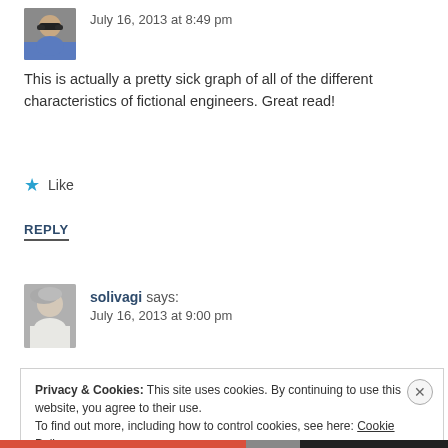[Figure (photo): Avatar photo of person wearing sunglasses, partially visible at top]
July 16, 2013 at 8:49 pm
This is actually a pretty sick graph of all of the different characteristics of fictional engineers. Great read!
★ Like
REPLY
[Figure (photo): Avatar photo of person with gray hair, side profile]
solivagi says:
July 16, 2013 at 9:00 pm
Privacy & Cookies: This site uses cookies. By continuing to use this website, you agree to their use.
To find out more, including how to control cookies, see here: Cookie Policy
Close and accept